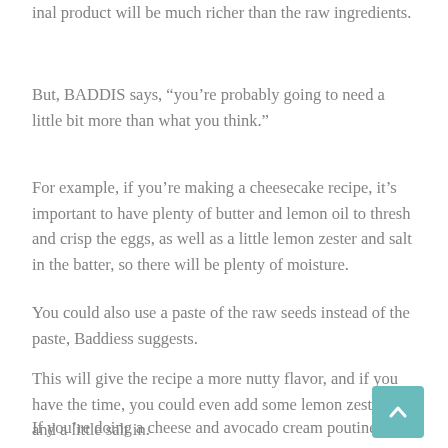inal product will be much richer than the raw ingredients.
But, BADDIS says, “you’re probably going to need a little bit more than what you think.”
For example, if you’re making a cheesecake recipe, it’s important to have plenty of butter and lemon oil to thresh and crisp the eggs, as well as a little lemon zester and salt in the batter, so there will be plenty of moisture.
You could also use a paste of the raw seeds instead of the paste, Baddiess suggests.
This will give the recipe a more nutty flavor, and if you have the time, you could even add some lemon zesting and a little salt in.
If you’re doing a cheese and avocado cream poutine, you